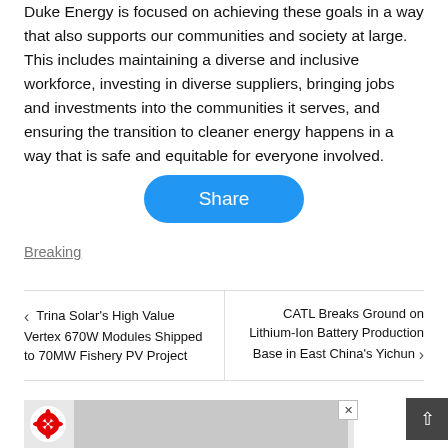Duke Energy is focused on achieving these goals in a way that also supports our communities and society at large. This includes maintaining a diverse and inclusive workforce, investing in diverse suppliers, bringing jobs and investments into the communities it serves, and ensuring the transition to cleaner energy happens in a way that is safe and equitable for everyone involved.
Share
Breaking
Trina Solar's High Value Vertex 670W Modules Shipped to 70MW Fishery PV Project
CATL Breaks Ground on Lithium-Ion Battery Production Base in East China's Yichun
[Figure (other): Huawei advertisement banner with Huawei logo on white brick wall background]